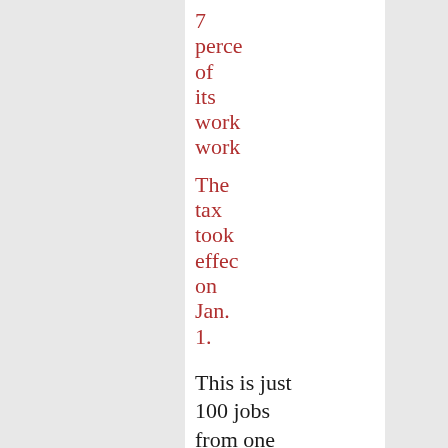7 perce of its work work
The tax took effec on Jan. 1.
This is just 100 jobs from one company. But opponents of Obama(Prete have been